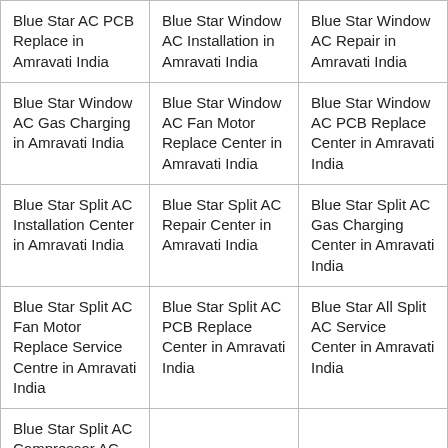| Blue Star AC PCB Replace in Amravati India | Blue Star Window AC Installation in Amravati India | Blue Star Window AC Repair in Amravati India |
| Blue Star Window AC Gas Charging in Amravati India | Blue Star Window AC Fan Motor Replace Center in Amravati India | Blue Star Window AC PCB Replace Center in Amravati India |
| Blue Star Split AC Installation Center in Amravati India | Blue Star Split AC Repair Center in Amravati India | Blue Star Split AC Gas Charging Center in Amravati India |
| Blue Star Split AC Fan Motor Replace Service Centre in Amravati India | Blue Star Split AC PCB Replace Center in Amravati India | Blue Star All Split AC Service Center in Amravati India |
| Blue Star Split AC Compressor AC Repair in Amravati India |  |  |